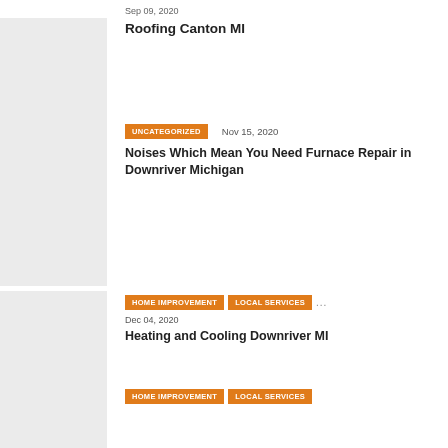Sep 09, 2020
Roofing Canton MI
UNCATEGORIZED   Nov 15, 2020
Noises Which Mean You Need Furnace Repair in Downriver Michigan
HOME IMPROVEMENT   LOCAL SERVICES   ...   Dec 04, 2020
Heating and Cooling Downriver MI
HOME IMPROVEMENT   LOCAL SERVICES
Dec 08, 2020
Roofing Contractors in Oakland County Michigan